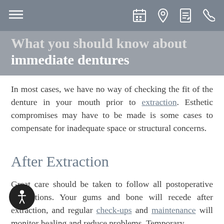Navigation bar with hamburger menu and icons
What you should know about immediate dentures
In most cases, we have no way of checking the fit of the denture in your mouth prior to extraction. Esthetic compromises may have to be made is some cases to compensate for inadequate space or structural concerns.
After Extraction
Great care should be taken to follow all postoperative instructions. Your gums and bone will recede after extraction, and regular check-ups and maintenance will monitor healing and reduce problems. Temporary